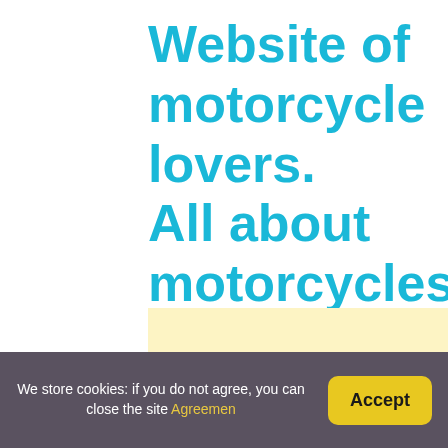Website of motorcycle lovers. All about motorcycles
[Figure (photo): Partial view of a yellow-background image showing stencil-style bold text reading 'POLISHING FOR' with a red block on the right edge]
We store cookies: if you do not agree, you can close the site Agreemen
Accept